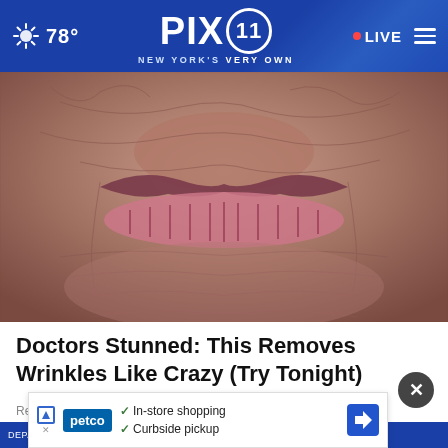PIX 11 — NEW YORK'S VERY OWN — 78° — LIVE
[Figure (photo): Extreme close-up macro photograph of elderly person's lips and surrounding wrinkled skin]
Doctors Stunned: This Removes Wrinkles Like Crazy (Try Tonight)
Rejuva...
[Figure (infographic): Petco advertisement banner showing in-store shopping and curbside pickup options with navigation arrow icon]